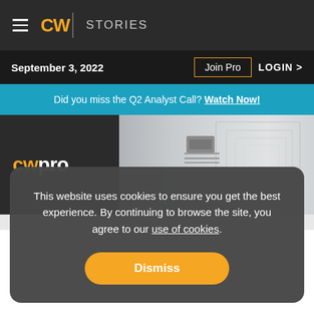CW | STORIES
September 3, 2022    Join Pro    LOGIN >
Did you miss the Q2 Analyst Call? Watch Now!
[Figure (screenshot): CW Pro hero image showing architectural blueprint/concentric squares design with 'cwpro' branding on dark background]
This website uses cookies to ensure you get the best experience. By continuing to browse the site, you agree to our use of cookies.
Dismiss